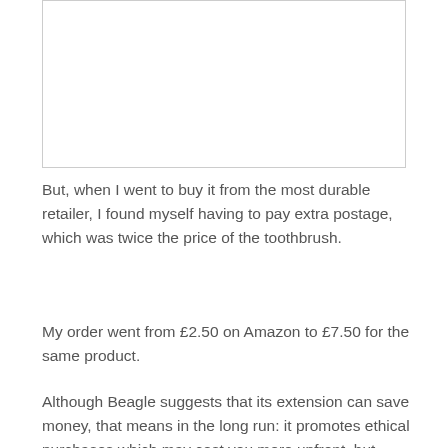[Figure (other): Empty white rectangular image placeholder with a light gray border]
But, when I went to buy it from the most durable retailer, I found myself having to pay extra postage, which was twice the price of the toothbrush.
My order went from £2.50 on Amazon to £7.50 for the same product.
Although Beagle suggests that its extension can save money, that means in the long run: it promotes ethical purchases which may cost you more upfront, but claim that the